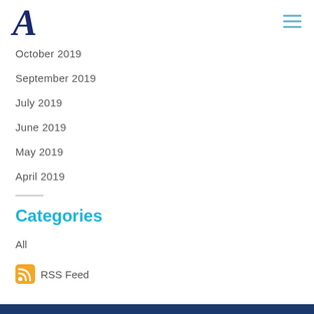A (logo) with hamburger menu
October 2019
September 2019
July 2019
June 2019
May 2019
April 2019
Categories
All
RSS Feed